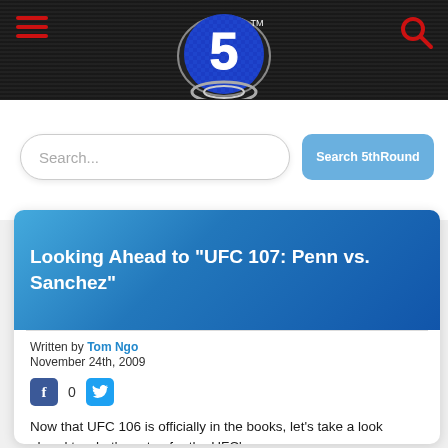[Figure (logo): 5thRound website logo — blue circular emblem with a large '5' and chain/horseshoe design, TM mark, on dark sports arena background header]
Search...
Search 5thRound
Looking Ahead to "UFC 107: Penn vs. Sanchez"
Written by Tom Ngo
November 24th, 2009
0
Now that UFC 106 is officially in the books, let's take a look ahead to what's on tap for the UFC's